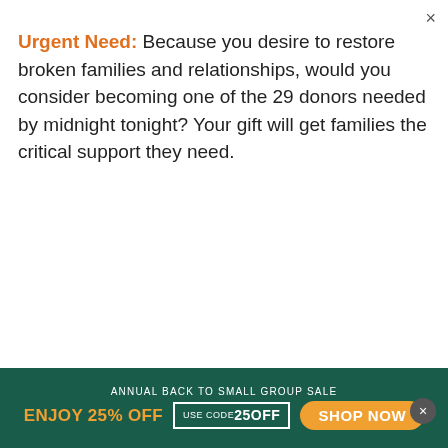×
Urgent Need: Because you desire to restore broken families and relationships, would you consider becoming one of the 29 donors needed by midnight tonight? Your gift will get families the critical support they need.
[Figure (other): Teal/blue button bar with large number '29' and 'GIVE NOW' text in white, and a dark green vertical 'Donate' tab on the right]
same. What he didn't realize was that she would have rated it a 1 at best, and the fact that he was so clueless disturbed her even more.
When their tenth anniversary rolled around in 1990, Dave pulled out all the stops. He organized a
[Figure (other): Dark green ad bar at the bottom with 'ANNUAL BACK TO SMALL GROUP SALE', 'ENJOY 25% OFF', 'USE CODE 250FF', and 'SHOP NOW' button]